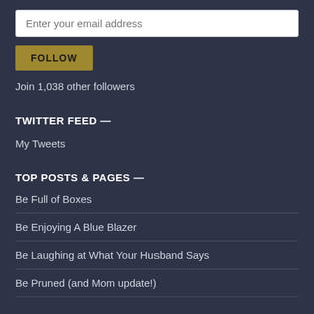Enter your email address
FOLLOW
Join 1,038 other followers
TWITTER FEED —
My Tweets
TOP POSTS & PAGES —
Be Full of Boxes
Be Enjoying A Blue Blazer
Be Laughing at What Your Husband Says
Be Pruned (and Mom update!)